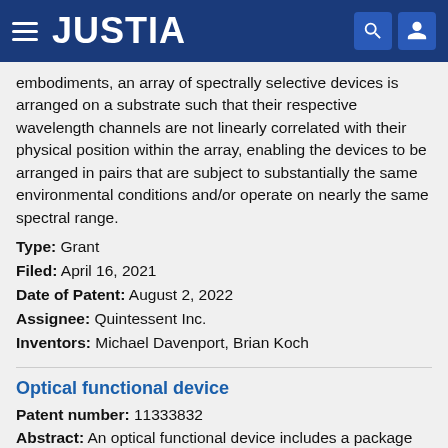JUSTIA
embodiments, an array of spectrally selective devices is arranged on a substrate such that their respective wavelength channels are not linearly correlated with their physical position within the array, enabling the devices to be arranged in pairs that are subject to substantially the same environmental conditions and/or operate on nearly the same spectral range.
Type: Grant
Filed: April 16, 2021
Date of Patent: August 2, 2022
Assignee: Quintessent Inc.
Inventors: Michael Davenport, Brian Koch
Optical functional device
Patent number: 11333832
Abstract: An optical functional device includes a package case accommodating an optical functional